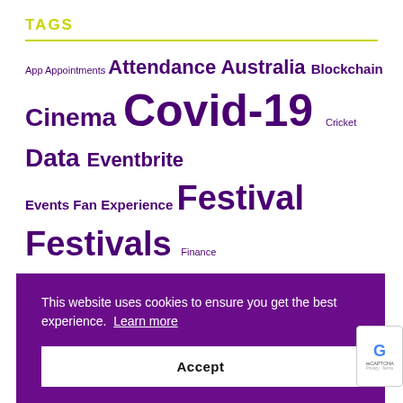TAGS
App Appointments Attendance Australia Blockchain Cinema Covid-19 Cricket Data Eventbrite Events Fan Experience Festival Festivals Finance Football Funding Germany India Live Events Live Nation M&A MLB Mobile NBA NFL Premier People...
This website uses cookies to ensure you get the best experience. Learn more
Accept